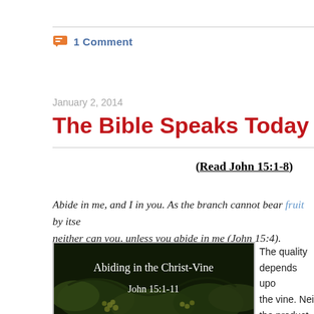1 Comment
January 2, 2014
The Bible Speaks Today – Abiding i…
(Read John 15:1-8)
Abide in me, and I in you. As the branch cannot bear fruit by itself, neither can you, unless you abide in me (John 15:4).
[Figure (photo): Image of grapevines with overlay text 'Abiding in the Christ-Vine John 15:1-11']
The quality depends upon the vine. Neither the product branch mere…